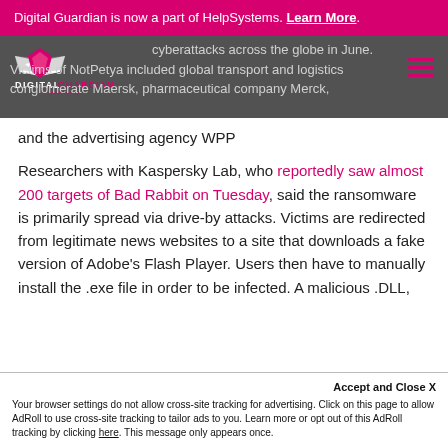Digital Guardian is now a part of HelpSystems. Learn More.
[Figure (logo): Digital Guardian by HelpSystems logo with navigation bar overlay showing partial article text about cyberattacks across the globe in June. Victims of NotPetya included global transport and logistics conglomerate Maersk, pharmaceutical company Merck, and the advertising agency WPP]
cyberattacks across the globe in June. Victims of NotPetya included global transport and logistics conglomerate Maersk, pharmaceutical company Merck, and the advertising agency WPP
Researchers with Kaspersky Lab, who reportedly saw almost 200 targets of Bad Rabbit on Tuesday, said the ransomware is primarily spread via drive-by attacks. Victims are redirected from legitimate news websites to a site that downloads a fake version of Adobe's Flash Player. Users then have to manually install the .exe file in order to be infected. A malicious .DLL,
Accept and Close X
Your browser settings do not allow cross-site tracking for advertising. Click on this page to allow AdRoll to use cross-site tracking to tailor ads to you. Learn more or opt out of this AdRoll tracking by clicking here. This message only appears once.